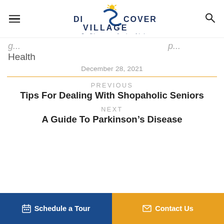Discovery Village By Discovery Senior Living
Health
December 28, 2021
PREVIOUS
Tips For Dealing With Shopaholic Seniors
NEXT
A Guide To Parkinson’s Disease
Schedule a Tour   Contact Us